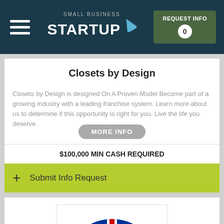Small Business Startup | REQUEST INFO 0
Closets by Design
Closets by Design is designed On A Proven Model Become part of a growing industry with a leading franchise system. Learn more about us to determine if this opportunity is right for you. Live the life you deserve.
MORE INFO
$100,000 MIN CASH REQUIRED
+ Submit Info Request
[Figure (logo): British Swim School logo — Union Jack semicircle with children figures and text 'British Swim School, Survival of the Littlest']
British Swim School